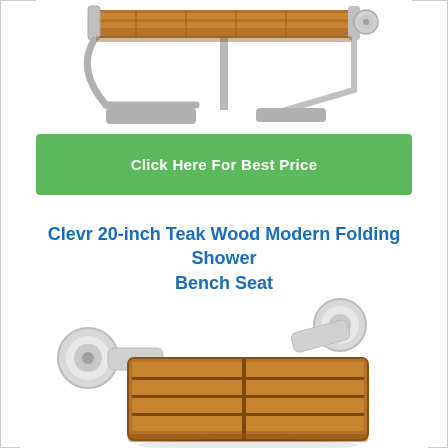[Figure (photo): A wall-mounted folding shower bench seat with teak wood seating surface and polished stainless steel frame, shown from a side angle.]
Click Here For Best Price
Clevr 20-inch Teak Wood Modern Folding Shower Bench Seat
[Figure (photo): A wall-mounted teak wood shower seat with slatted wooden surface and chrome/polished round wall mounting brackets, shown from slightly above.]